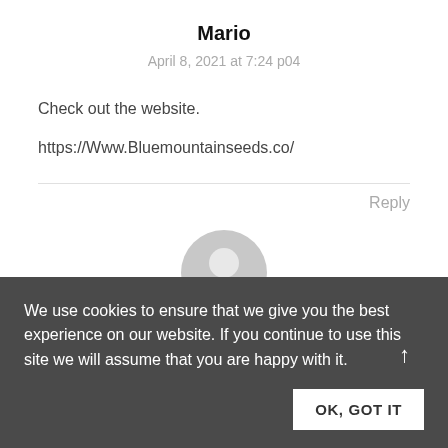Mario
April 8, 2021 at 7:24 p04
Check out the website.
https://Www.Bluemountainseeds.co/
Reply
[Figure (illustration): Generic user avatar icon, circular gray silhouette]
Ronnie nelson
We use cookies to ensure that we give you the best experience on our website. If you continue to use this site we will assume that you are happy with it.
OK, GOT IT